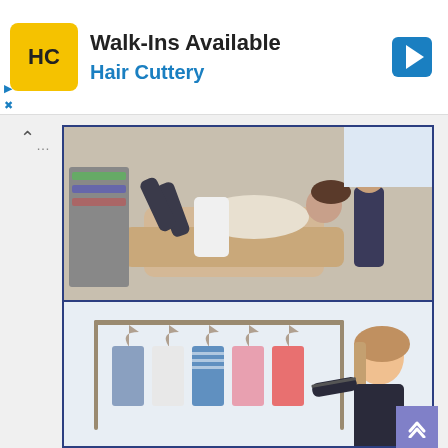[Figure (screenshot): Hair Cuttery advertisement banner with yellow HC logo, 'Walk-Ins Available' text, 'Hair Cuttery' subtitle in blue, and a blue diamond navigation icon on the right]
[Figure (photo): Photo of a hair salon scene with a person lying back in a salon chair and a stylist standing nearby]
5 Ways to Maximize Efficiency at Your Hair Salon
[Figure (photo): Photo of a young woman browsing clothes on a rack with colorful garments hanging]